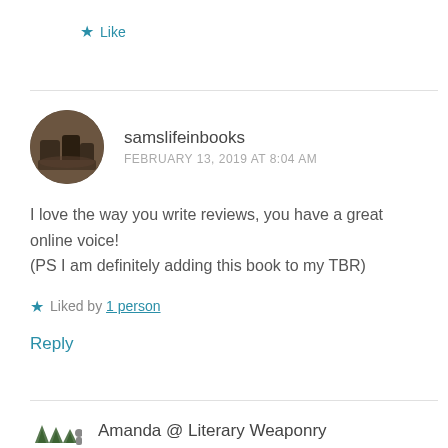★ Like
samslifeinbooks
FEBRUARY 13, 2019 AT 8:04 AM
I love the way you write reviews, you have a great online voice!
(PS I am definitely adding this book to my TBR)
★ Liked by 1 person
Reply
Amanda @ Literary Weaponry